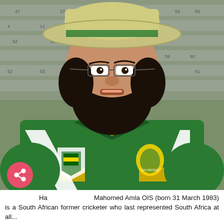[Figure (photo): Photograph of Hashim Mahomed Amla, a South African cricketer, wearing a green and yellow South Africa cricket jersey with white stripes, a wide-brimmed sunhat, and glasses. He has a full dark beard. Stadium seating with numbered seats is visible in the background. A seat number '53' is visible in the lower left of the photo.]
Hashim Mahomed Amla OIS (born 31 March 1983) is a South African former cricketer who last represented South Africa at all...